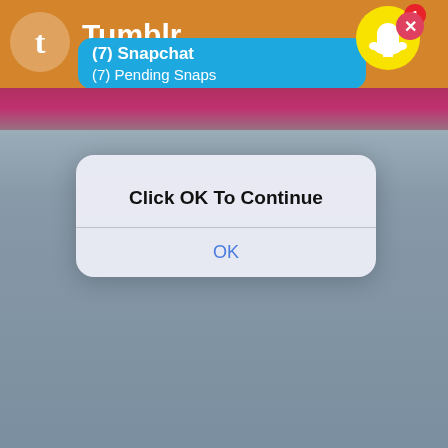[Figure (screenshot): Screenshot of a mobile device screen showing a Tumblr app header with an orange background and a Snapchat notification popup reading '(7) Snapchat / (7) Pending Snaps'. A Snapchat ghost icon with a yellow circle and red badge showing '1' is in the top right. A red close button is at top far right. Behind the overlays is a photo of a woman with dark hair wearing a floral dress with a yellow bead necklace. An iOS-style dialog box overlays the center of the screen reading 'Click OK To Continue' with an 'OK' button in blue.]